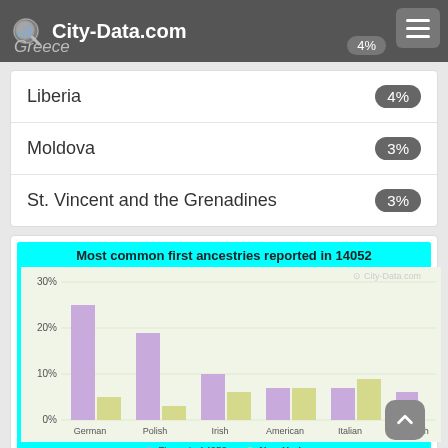City-Data.com | Greece 4%
Liberia 4%
Moldova 3%
St. Vincent and the Grenadines 3%
[Figure (bar-chart): Most common first ancestries reported in 14052]